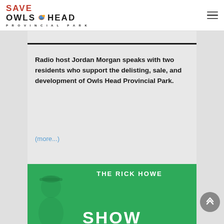SAVE OWLS HEAD PROVINCIAL PARK
Radio host Jordan Morgan speaks with two residents who support the delisting, sale, and development of Owls Head Provincial Park.
(more...)
[Figure (photo): Green promotional card for The Rick Howe Show featuring a person in a cap on the left and show title text on the right]